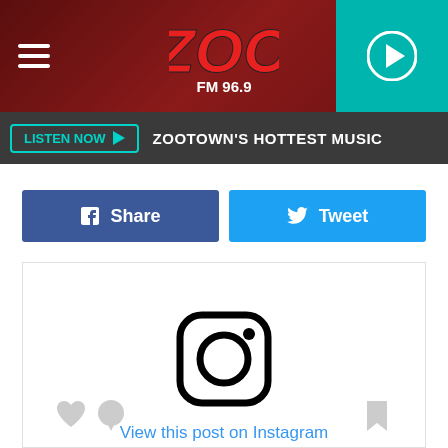[Figure (screenshot): ZOO FM 96.9 radio station website header with hamburger menu, red background logo, and teal play button]
LISTEN NOW ▶  ZOOTOWN'S HOTTEST MUSIC
f Share
🐦 Tweet
[Figure (other): Instagram embed placeholder showing Instagram icon and 'View this post on Instagram' link with heart, comment, and bookmark icons at the bottom]